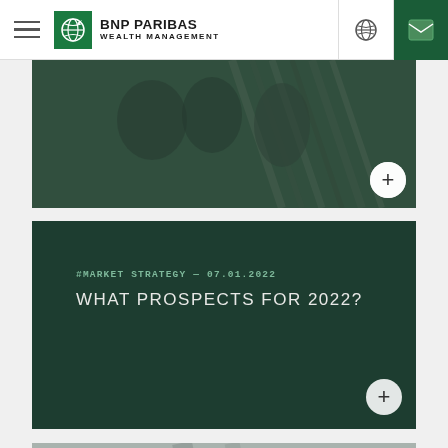BNP PARIBAS WEALTH MANAGEMENT
[Figure (photo): Dark photo of people studying or reading documents, with a dark green overlay]
#MARKET STRATEGY — 07.01.2022
WHAT PROSPECTS FOR 2022?
[Figure (photo): Partial photo of a blurred interior scene at the bottom of the page]